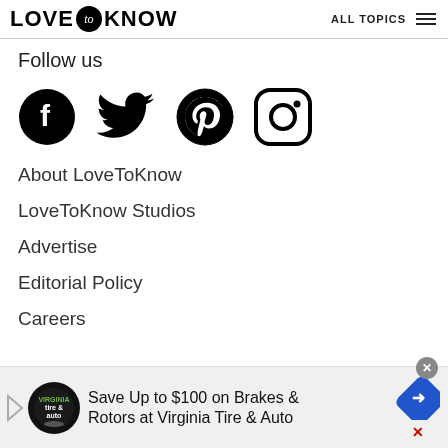LOVE to KNOW  ALL TOPICS
Follow us
[Figure (illustration): Four social media icons in a row: Facebook (filled circle with F), Twitter (bird), Pinterest (circle with P), Instagram (rounded square camera icon)]
About LoveToKnow
LoveToKnow Studios
Advertise
Editorial Policy
Careers
[Figure (infographic): Advertisement banner: Save Up to $100 on Brakes & Rotors at Virginia Tire & Auto, with Virginia Tire & Auto logo and a blue navigation sign icon]